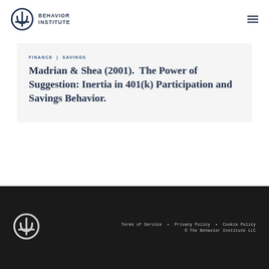BEHAVIOR INSTITUTE
FINANCE | SAVINGS
Madrian & Shea (2001).  The Power of Suggestion: Inertia in 401(k) Participation and Savings Behavior.
Terms of Service • Privacy Policy • Cookie Policy
© The Behavior Institute LLC